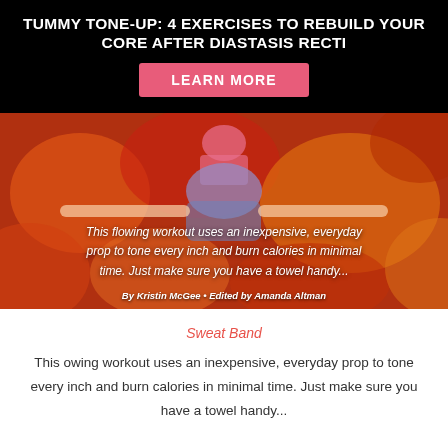TUMMY TONE-UP: 4 EXERCISES TO REBUILD YOUR CORE AFTER DIASTASIS RECTI
LEARN MORE
[Figure (photo): Person in yoga/workout pose wearing floral leggings and pink top, photographed from behind against a colorful orange/red mural background. Text overlay reads: 'This flowing workout uses an inexpensive, everyday prop to tone every inch and burn calories in minimal time. Just make sure you have a towel handy...' By Kristin McGee • Edited by Amanda Altman]
Sweat Band
This owing workout uses an inexpensive, everyday prop to tone every inch and burn calories in minimal time. Just make sure you have a towel handy...